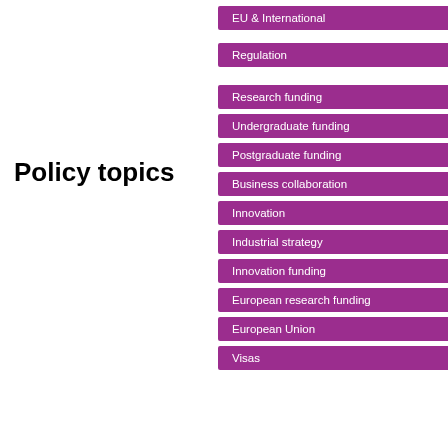Policy topics
[Figure (infographic): A vertical list of purple labeled bars representing policy topics: EU & International, Regulation, Research funding, Undergraduate funding, Postgraduate funding, Business collaboration, Innovation, Industrial strategy, Innovation funding, European research funding, European Union, Visas]